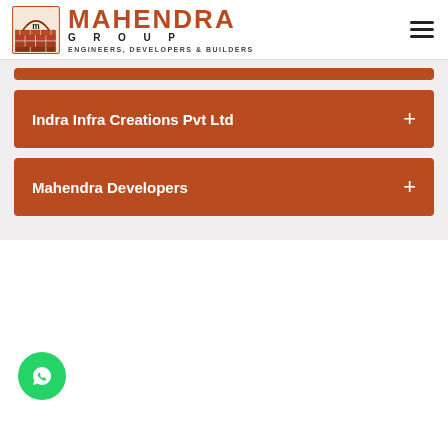[Figure (logo): Mahendra Group logo with brick-and-arch icon, company name in brown, tagline ENGINEERS, DEVELOPERS & BUILDERS]
Indra Infra Creations Pvt Ltd
Mahendra Developers
[Figure (illustration): WhatsApp chat button (green circle with chat icon) in bottom-left corner]